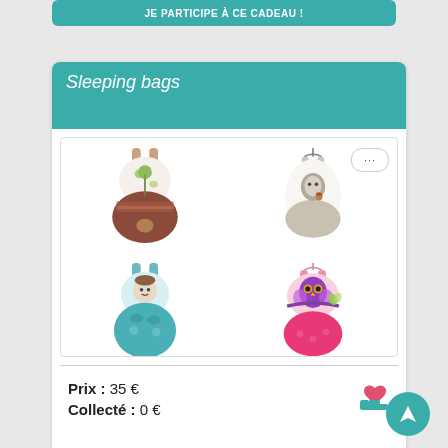JE PARTICIPE À CE CADEAU !
Sleeping bags
[Figure (photo): Four baby sleeping bags arranged in a 2x2 grid: top-left is brown/white with animal appliqué, top-right is white/grey with squirrel design, bottom-left is teal/light blue with animal face, bottom-right is pink/magenta with owl design.]
Prix : 35 €
Collecté : 0 €
Je participe à ce cadeau !